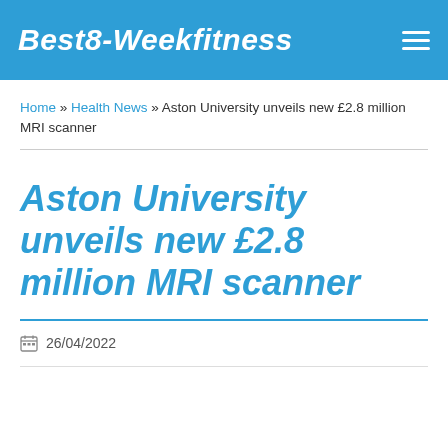Best8-Weekfitness
Home » Health News » Aston University unveils new £2.8 million MRI scanner
Aston University unveils new £2.8 million MRI scanner
26/04/2022